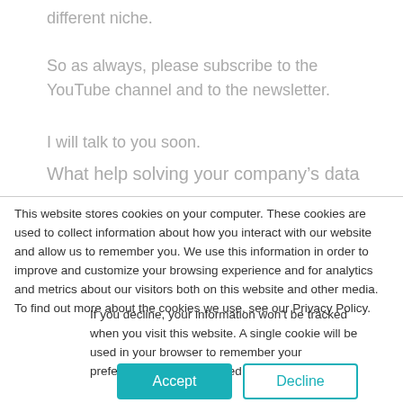different niche.
So as always, please subscribe to the YouTube channel and to the newsletter.
I will talk to you soon.
What help solving your company’s data
This website stores cookies on your computer. These cookies are used to collect information about how you interact with our website and allow us to remember you. We use this information in order to improve and customize your browsing experience and for analytics and metrics about our visitors both on this website and other media. To find out more about the cookies we use, see our Privacy Policy.
If you decline, your information won’t be tracked when you visit this website. A single cookie will be used in your browser to remember your preference not to be tracked.
Accept
Decline